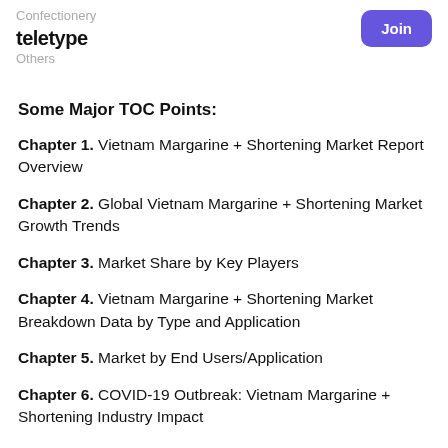Confectionery
teletype
Others
Some Major TOC Points:
Chapter 1. Vietnam Margarine + Shortening Market Report Overview
Chapter 2. Global Vietnam Margarine + Shortening Market Growth Trends
Chapter 3. Market Share by Key Players
Chapter 4. Vietnam Margarine + Shortening Market Breakdown Data by Type and Application
Chapter 5. Market by End Users/Application
Chapter 6. COVID-19 Outbreak: Vietnam Margarine + Shortening Industry Impact